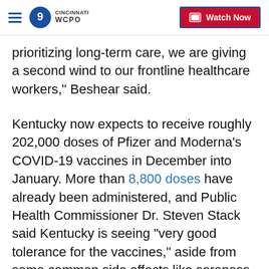WCPO 9 CINCINNATI | Watch Now
prioritizing long-term care, we are giving a second wind to our frontline healthcare workers," Beshear said.
Kentucky now expects to receive roughly 202,000 doses of Pfizer and Moderna's COVID-19 vaccines in December into January. More than 8,800 doses have already been administered, and Public Health Commissioner Dr. Steven Stack said Kentucky is seeing "very good tolerance for the vaccines," aside from some common side effects like soreness at the vaccine location, body aches and low-grade fever.